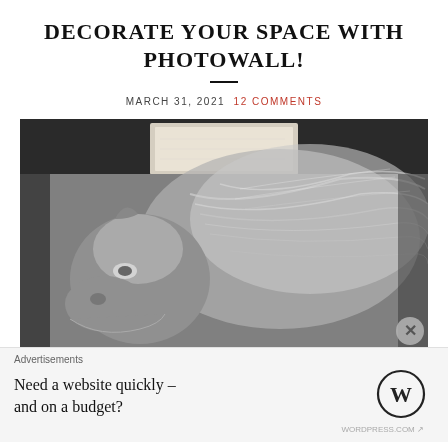DECORATE YOUR SPACE WITH PHOTOWALL!
MARCH 31, 2021  12 COMMENTS
[Figure (photo): Black and white photo of a lion's head and mane in profile, viewed from the side, with dramatic flowing mane. A piece of tape or paper is visible at the top of the image, suggesting the photo is being installed as a photowall poster.]
Advertisements
Need a website quickly – and on a budget?